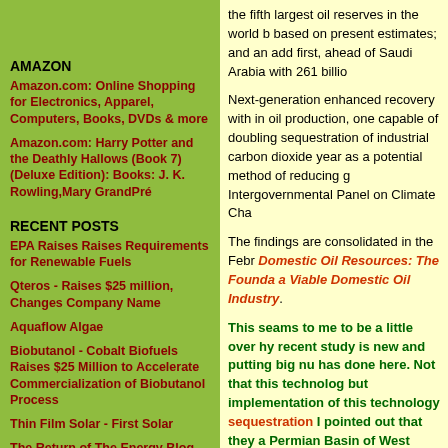AMAZON
Amazon.com: Online Shopping for Electronics, Apparel, Computers, Books, DVDs & more
Amazon.com: Harry Potter and the Deathly Hallows (Book 7) (Deluxe Edition): Books: J. K. Rowling,Mary GrandPré
RECENT POSTS
EPA Raises Raises Requirements for Renewable Fuels
Qteros - Raises $25 million, Changes Company Name
Aquaflow Algae
Biobutanol - Cobalt Biofuels Raises $25 Million to Accelerate Commercialization of Biobutanol Process
Thin Film Solar - First Solar
The Return of The Energy Blog
Pickens Mesa Power Orders 1,000 MW of Wind Turbines
Worlds Largest, $1.8 Billion, 500 MW, Wind Farm to be Built off the Coast of UK
DuPont To Enter Thin Film Amorphous Silicon Market
the fifth largest oil reserves in the world based on present estimates; and an add first, ahead of Saudi Arabia with 261 billi
Next-generation enhanced recovery with in oil production, one capable of doubling sequestration of industrial carbon dioxide year as a potential method of reducing g Intergovernmental Panel on Climate Cha
The findings are consolidated in the Febr Domestic Oil Resources: The Founda a Viable Domestic Oil Industry.
This seams to me to be a little over hy recent study is new and putting big nu has done here. Not that this technolog but implementation of this technology sequestration I pointed out that they a Permian Basin of West Texas and we Great Plains Gasification Project acro Project for this purpose. Two BP gasi one in CA and one in Scotland and the being developed in Wyoming all are p